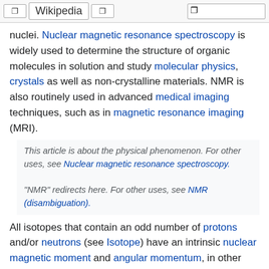Wikipedia
nuclei. Nuclear magnetic resonance spectroscopy is widely used to determine the structure of organic molecules in solution and study molecular physics, crystals as well as non-crystalline materials. NMR is also routinely used in advanced medical imaging techniques, such as in magnetic resonance imaging (MRI).
This article is about the physical phenomenon. For other uses, see Nuclear magnetic resonance spectroscopy.
"NMR" redirects here. For other uses, see NMR (disambiguation).
All isotopes that contain an odd number of protons and/or neutrons (see Isotope) have an intrinsic nuclear magnetic moment and angular momentum, in other words a nonzero nuclear spin, while all nuclides with even numbers of both have a total spin of zero. The most